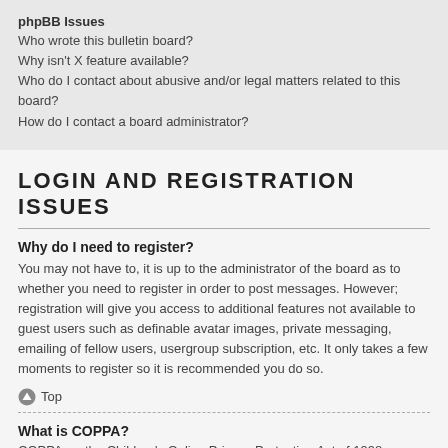phpBB Issues
Who wrote this bulletin board?
Why isn't X feature available?
Who do I contact about abusive and/or legal matters related to this board?
How do I contact a board administrator?
LOGIN AND REGISTRATION ISSUES
Why do I need to register?
You may not have to, it is up to the administrator of the board as to whether you need to register in order to post messages. However; registration will give you access to additional features not available to guest users such as definable avatar images, private messaging, emailing of fellow users, usergroup subscription, etc. It only takes a few moments to register so it is recommended you do so.
Top
What is COPPA?
COPPA, or the Children's Online Privacy Protection Act of 1998,